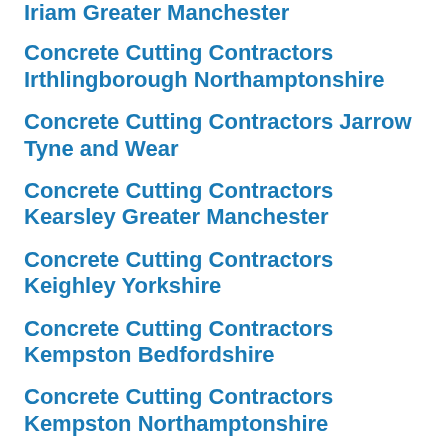Iriam Greater Manchester
Concrete Cutting Contractors Irthlingborough Northamptonshire
Concrete Cutting Contractors Jarrow Tyne and Wear
Concrete Cutting Contractors Kearsley Greater Manchester
Concrete Cutting Contractors Keighley Yorkshire
Concrete Cutting Contractors Kempston Bedfordshire
Concrete Cutting Contractors Kempston Northamptonshire